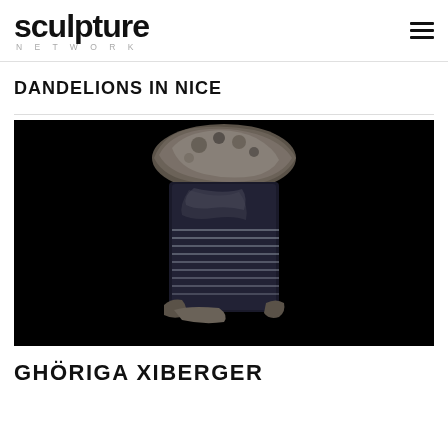sculpture NETWORK
DANDELIONS IN NICE
[Figure (photo): A sculpture photographed against a black background. The piece appears to combine rough stone at the top and bottom with a polished dark stone or glass middle section wrapped or incised with horizontal parallel lines, creating a totem-like form.]
GHÖRIGA XIBERGER